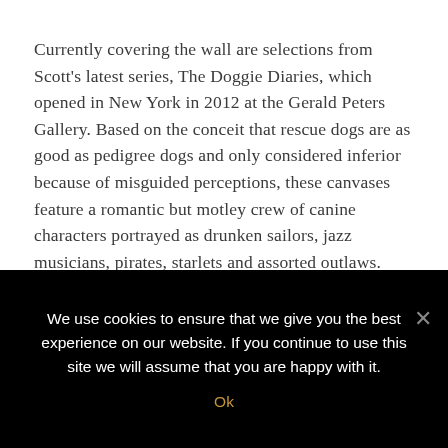Currently covering the wall are selections from Scott's latest series, The Doggie Diaries, which opened in New York in 2012 at the Gerald Peters Gallery. Based on the conceit that rescue dogs are as good as pedigree dogs and only considered inferior because of misguided perceptions, these canvases feature a romantic but motley crew of canine characters portrayed as drunken sailors, jazz musicians, pirates, starlets and assorted outlaws.
All of this adds up to a magical combination of form, function and style — a place where vintage props and a high-desert landscape transform technically adroit paintings into artworks of
We use cookies to ensure that we give you the best experience on our website. If you continue to use this site we will assume that you are happy with it.
Ok